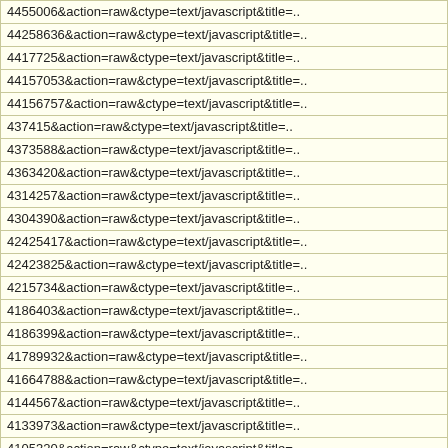| 4455006&action=raw&ctype=text/javascript&title=.. |
| 44258636&action=raw&ctype=text/javascript&title=.. |
| 4417725&action=raw&ctype=text/javascript&title=.. |
| 44157053&action=raw&ctype=text/javascript&title=.. |
| 44156757&action=raw&ctype=text/javascript&title=.. |
| 437415&action=raw&ctype=text/javascript&title=.. |
| 4373588&action=raw&ctype=text/javascript&title=.. |
| 4363420&action=raw&ctype=text/javascript&title=.. |
| 4314257&action=raw&ctype=text/javascript&title=.. |
| 4304390&action=raw&ctype=text/javascript&title=.. |
| 42425417&action=raw&ctype=text/javascript&title=.. |
| 42423825&action=raw&ctype=text/javascript&title=.. |
| 4215734&action=raw&ctype=text/javascript&title=.. |
| 4186403&action=raw&ctype=text/javascript&title=.. |
| 4186399&action=raw&ctype=text/javascript&title=.. |
| 41789932&action=raw&ctype=text/javascript&title=.. |
| 41664788&action=raw&ctype=text/javascript&title=.. |
| 4144567&action=raw&ctype=text/javascript&title=.. |
| 4133973&action=raw&ctype=text/javascript&title=.. |
| 4105320&action=raw&ctype=text/javascript&title=.. |
| 40983071&action=raw&ctype=text/javascript&title=.. |
| 4035318&action=raw&ctype=text/javascript&title=.. |
| 40223406&action=raw&ctype=text/javascript&title=.. |